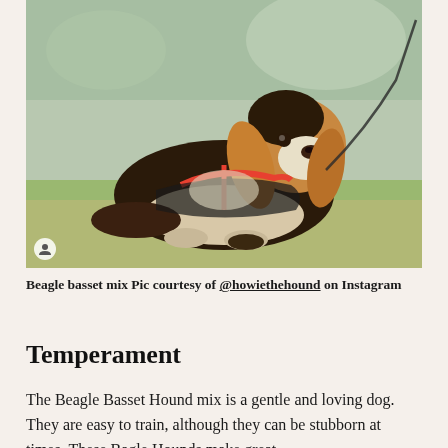[Figure (photo): A Beagle Basset Hound mix dog lying on grass, wearing a black harness with red strap, looking upward. The dog has tricolor markings of black, tan, and white. A leash is visible. Small person/avatar icon appears in the bottom-left corner of the image.]
Beagle basset mix Pic courtesy of @howiethehound on Instagram
Temperament
The Beagle Basset Hound mix is a gentle and loving dog. They are easy to train, although they can be stubborn at times. These Bagle Hounds make great